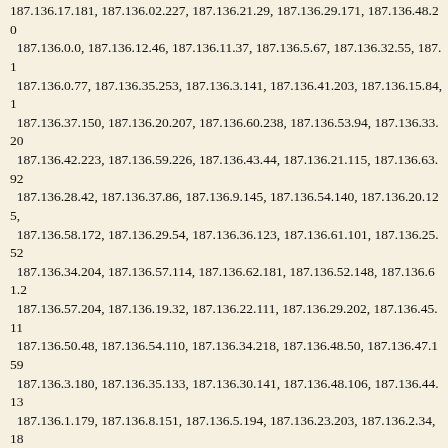187.136.17.181, 187.136.02.227, 187.136.21.29, 187.136.29.171, 187.136.48.20, 187.136.0.0, 187.136.12.46, 187.136.11.37, 187.136.5.67, 187.136.32.55, 187.136.0.77, 187.136.35.253, 187.136.3.141, 187.136.41.203, 187.136.15.84, 187.136.37.150, 187.136.20.207, 187.136.60.238, 187.136.53.94, 187.136.33.20, 187.136.42.223, 187.136.59.226, 187.136.43.44, 187.136.21.115, 187.136.63.92, 187.136.28.42, 187.136.37.86, 187.136.9.145, 187.136.54.140, 187.136.20.125, 187.136.58.172, 187.136.29.54, 187.136.36.123, 187.136.61.101, 187.136.25.52, 187.136.34.204, 187.136.57.114, 187.136.62.181, 187.136.52.148, 187.136.61.2, 187.136.57.204, 187.136.19.32, 187.136.22.111, 187.136.29.202, 187.136.45.11, 187.136.50.48, 187.136.54.110, 187.136.34.218, 187.136.48.50, 187.136.47.159, 187.136.3.180, 187.136.35.133, 187.136.30.141, 187.136.48.106, 187.136.44.13, 187.136.1.179, 187.136.8.151, 187.136.5.194, 187.136.23.203, 187.136.2.34, 187.136.36.3, 187.136.28.39, 187.136.54.62, 187.136.57.43, 187.136.48.173, 187.136.16.137, 187.136.39.159, 187.136.22.113, 187.136.27.83, 187.136.32.70, 187.136.56.122, 187.136.20.72, 187.136.53.18, 187.136.33.160, 187.136.60.130, 187.136.7.23, 187.136.38.173, 187.136.16.71, 187.136.56.75, 187.136.39.252, 187.136.23.15, 187.136.9.185, 187.136.3.225, 187.136.12.158, 187.136.10.121, 187.136.40.185, 187.136.32.233, 187.136.31.246, 187.136.19.128, 187.136.27., 187.136.49.247, 187.136.12.91, 187.136.29.2, 187.136.21.225, 187.136.18.66, 187.136.22.90, 187.136.29.75, 187.136.25.56, 187.136.0.226, 187.136.31.165, 187.136.31.97, 187.136.59.46, 187.136.31.218, 187.136.26.193, 187.136.56.85, 187.136.44.226, 187.136.47.117, 187.136.63.69, 187.136.21.16, 187.136.44.14, 187.136.46.37, 187.136.17.200, 187.136.6.50, 187.136.32.224, 187.136.47.44, 187.136.58.165, 187.136.19.194, 187.136.41.208, 187.136.21.189, 187.136.6.10, 187.136.19.116, 187.136.0.99, 187.136.45.218, 187.136.29.7, 187.136.32.183, 187.136.21.112, 187.136.56.182, 187.136.63.214, 187.136.41.41, 187.136.26.22, 187.136.49.122, 187.136.22.244, 187.136.13.80, 187.136.48.179, 187.136.24.20, 187.136.33.193, 187.136.15.99, 187.136.42.182, 187.136.13.130, 187.136.1.145, 187.136.23.61, 187.136.3.247, 187.136.63.209, 187.136.20.208, 187.136.0.160, 187.136.42.217, 187.136.56.51, 187.136.11.26, 187.136.0.12, 187.136.39.162, 187.136.58.150, 187.136.25.139, 187.136.39.90, 187.136.4.35, 187.136.60.237, 187.136.42.126, 187.136.34.144, 187.136.10.13, 187.136.8.65, 187.136.54.59, 187.136.55.142, 187.136.20.132, 187.136.0.29, 187.136.62.146, 187.136.6.1...